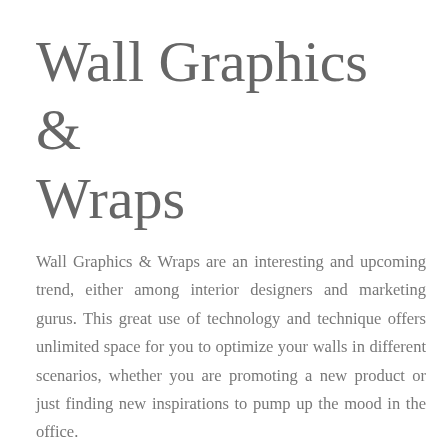Wall Graphics & Wraps
Wall Graphics & Wraps are an interesting and upcoming trend, either among interior designers and marketing gurus. This great use of technology and technique offers unlimited space for you to optimize your walls in different scenarios, whether you are promoting a new product or just finding new inspirations to pump up the mood in the office.
Wall Graphics & Wraps can be temporary, re-positional or permanent for different type of surfaces. Wall wraps are not